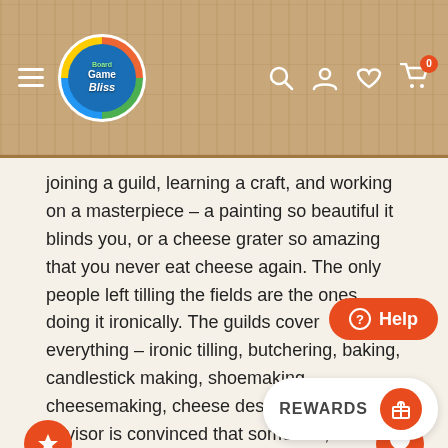[Figure (screenshot): BoardGame Bliss website header with logo, hamburger menu, search, account, wishlist, and cart icons on a wood-grain background]
joining a guild, learning a craft, and working on a masterpiece – a painting so beautiful it blinds you, or a cheese grater so amazing that you never eat cheese again. The only people left tilling the fields are the ones doing it ironically. The guilds cover everything – ironic tilling, butchering, baking, candlestick making, shoemaking, cheesemaking, cheese destruction. Your advisor is convinced that somehow, control of stonecutters is key to world domination. Very well. You will have stone handled so expertly that the world trembles before you.
Dominion: Guilds is the eighth addition to the game of Dominion, adding thirteen new Kingdom cards to the game. This expansion has coin tokens that you can save to spend later, and cards you get more out of by paying extra for them.